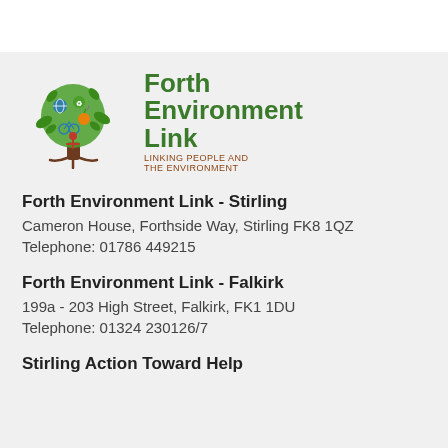[Figure (logo): Forth Environment Link logo — a tree with colourful icons in its canopy and the organisation name beside it]
Forth Environment Link - Stirling
Cameron House, Forthside Way, Stirling FK8 1QZ
Telephone: 01786 449215
Forth Environment Link - Falkirk
199a - 203 High Street, Falkirk, FK1 1DU
Telephone: 01324 230126/7
Stirling Action Toward Help…